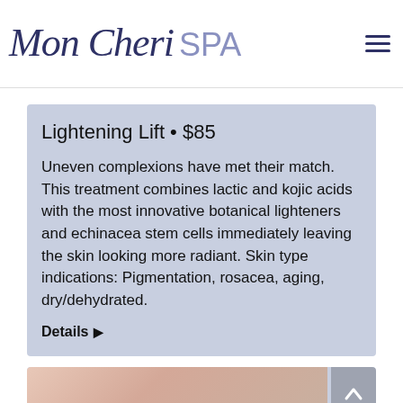Mon Cheri SPA
Lightening Lift • $85
Uneven complexions have met their match. This treatment combines lactic and kojic acids with the most innovative botanical lighteners and echinacea stem cells immediately leaving the skin looking more radiant. Skin type indications: Pigmentation, rosacea, aging, dry/dehydrated.
Details ▶
[Figure (photo): Partial photo of a person's torso/skin, visible at bottom of page]